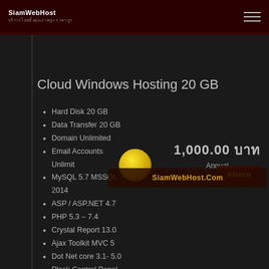SiamWebHost
Cloud Windows Hosting 20 GB
Hard Disk 20 GB
Data Transfer 20 GB
Domain Unlimited
Email Accounts Unlimited
MySQL 5.7 MSSQL 2014
ASP / ASP.NET 4.7
PHP 5.3 – 7.4
Crystal Report 13.0
Ajax Toolkit MVC 5
Dot Net core 3.1- 5.0
Plesk Control Panel
Backup Weekly
1,000.00 บาท Annual
SiamWebHost.Com Ahora